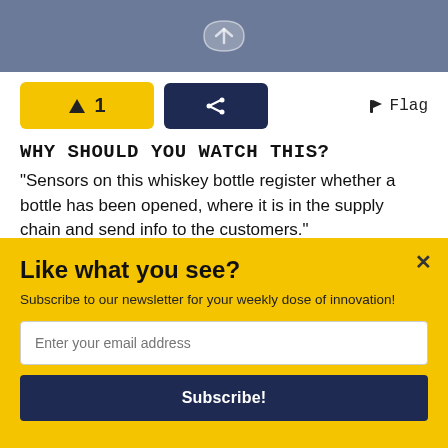[Figure (illustration): Top banner image with gray/blue background showing partial logo or icon in white]
[Figure (infographic): Vote upvote button showing yellow button with up arrow and number 1, dark blue share button with arrow icon, and Flag link on right]
WHY SHOULD YOU WATCH THIS?
“Sensors on this whiskey bottle register whether a bottle has been opened, where it is in the supply chain and send info to the customers.”
Added by: Simone De Bruin, The Netherlands
Nov 23, 2017  POWERED BY SUMO
Like what you see?
Subscribe to our newsletter for your weekly dose of innovation!
Enter your email address
Subscribe!